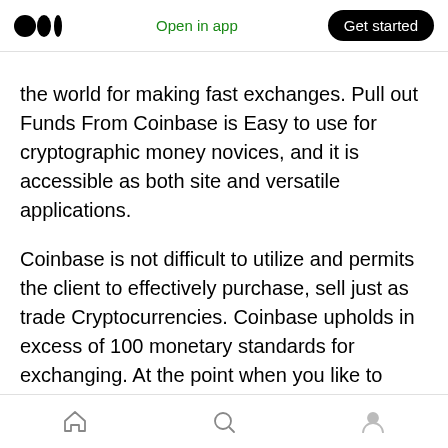Medium logo | Open in app | Get started
the world for making fast exchanges. Pull out Funds From Coinbase is Easy to use for cryptographic money novices, and it is accessible as both site and versatile applications.
Coinbase is not difficult to utilize and permits the client to effectively purchase, sell just as trade Cryptocurrencies. Coinbase upholds in excess of 100 monetary standards for exchanging. At the point when you like to know “How Do I Withdraw Funds From Coinbase?” then, at that point, you can keep on perusing underneath for acquiring information
Home | Search | Profile